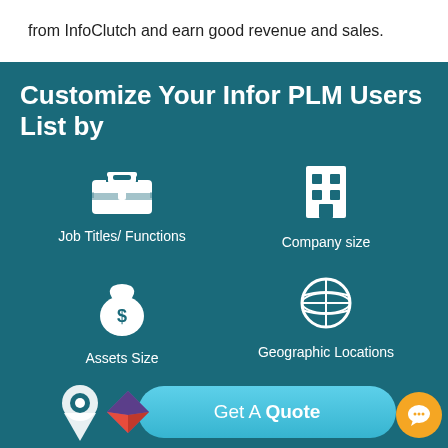from InfoClutch and earn good revenue and sales.
Customize Your Infor PLM Users List by
[Figure (infographic): Four icons in a 2x2 grid on teal background: briefcase icon labeled 'Job Titles/ Functions', building/company icon labeled 'Company size', money bag with dollar sign labeled 'Assets Size', globe icon labeled 'Geographic Locations']
[Figure (infographic): Bottom bar with a location pin icon, an InfoClutch logo diamond icon, a 'Get A Quote' button in light blue, and an orange chat bubble button]